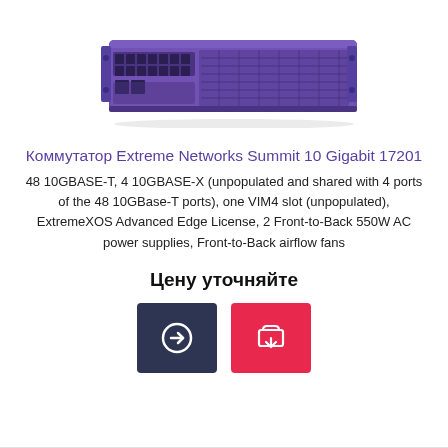[Figure (photo): Photo of a purple 1U rack-mount network switch — Extreme Networks Summit 10 Gigabit 17201, showing front panel with SFP+ ports and two RJ45 ports on the left.]
Коммутатор Extreme Networks Summit 10 Gigabit 17201
48 10GBASE-T, 4 10GBASE-X (unpopulated and shared with 4 ports of the 48 10GBase-T ports), one VIM4 slot (unpopulated), ExtremeXOS Advanced Edge License, 2 Front-to-Back 550W AC power supplies, Front-to-Back airflow fans
Цену уточняйте
[Figure (illustration): Two buttons: a dark navy square with a right-arrow/login icon, and a red square with a shopping cart icon.]